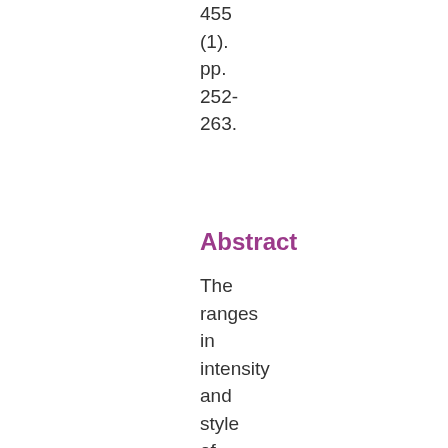455 (1). pp. 252- 263.
Abstract
The ranges in intensity and style of volcanic eruptions, from highly explosive Plinian eruptions to quiescent